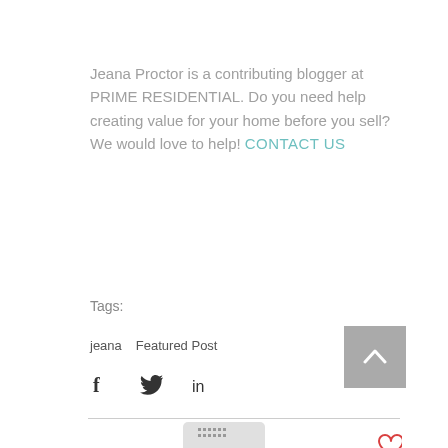Jeana Proctor is a contributing blogger at PRIME RESIDENTIAL. Do you need help creating value for your home before you sell? We would love to help! CONTACT US
Tags:
jeana   Featured Post
[Figure (other): Social sharing icons: Facebook (f), Twitter (bird), LinkedIn (in)]
[Figure (other): Back to top button - grey square with upward chevron arrow]
[Figure (other): Heart/like icon in red outline]